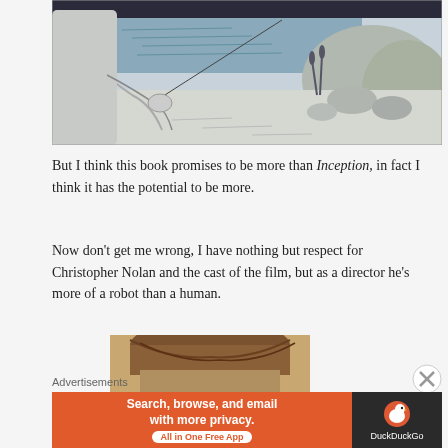[Figure (illustration): Black and white illustrated scene of a person holding a fishing rod by a lake with rocks and reeds in the background]
But I think this book promises to be more than Inception, in fact I think it has the potential to be more.
Now don't get me wrong, I have nothing but respect for Christopher Nolan and the cast of the film, but as a director he's more of a robot than a human.
[Figure (photo): Photo of a person's head from above, showing brown hair]
Advertisements
[Figure (infographic): DuckDuckGo advertisement: Search, browse, and email with more privacy. All in One Free App]